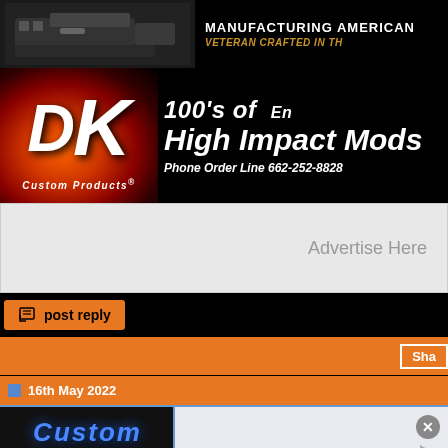[Figure (screenshot): Top banner with gun product image on left]
[Figure (screenshot): DK Custom Products banner ad: 100's of High Impact Mods, Phone Order Line 662-252-8828]
Advertise Here
[Figure (screenshot): Post reply button on black toolbar]
[Figure (screenshot): Orange bar with Share button]
16th May 2022
[Figure (screenshot): Forum post area with Custom Products logo image and infolinks bar, ad close button]